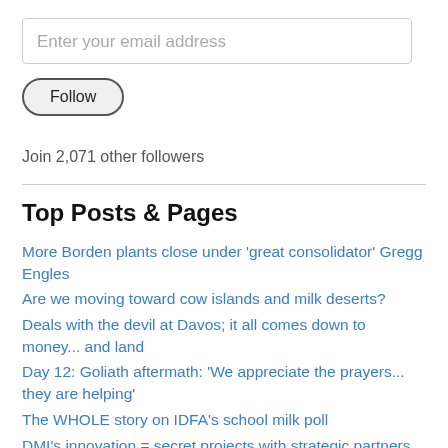Enter your email address
Follow
Join 2,071 other followers
Top Posts & Pages
More Borden plants close under 'great consolidator' Gregg Engles
Are we moving toward cow islands and milk deserts?
Deals with the devil at Davos; it all comes down to money... and land
Day 12: Goliath aftermath: 'We appreciate the prayers... they are helping'
The WHOLE story on IDFA's school milk poll
DMI's innovation = secret projects with strategic partners
Change is constant. Innovation is great. But please respect The Milk.
Lancaster County ranked 11th as dairy industry consolidates to 54 counties shipping 50% of FMMO milk